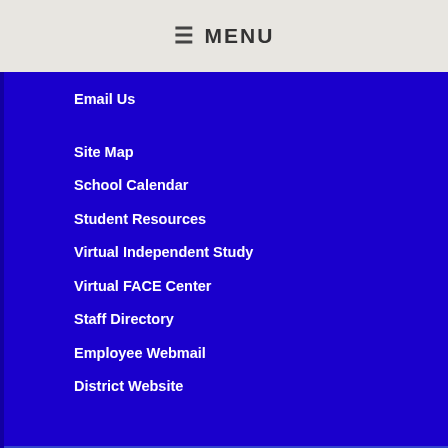≡ MENU
Email Us
Site Map
School Calendar
Student Resources
Virtual Independent Study
Virtual FACE Center
Staff Directory
Employee Webmail
District Website